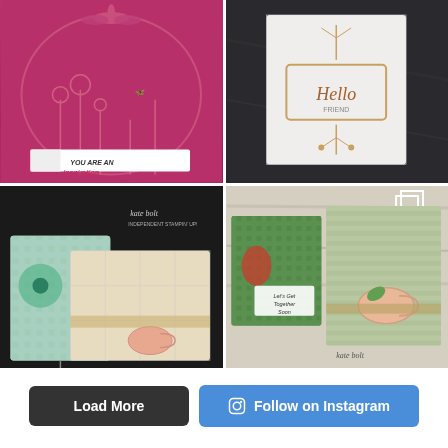[Figure (photo): Pink embossed card with dragonfly and floral designs, text reads 'YOU ARE AN INSPIRATION']
[Figure (photo): White embossed card with gold botanical die-cut frame, text reads 'Hello FRIEND' on dark marble background]
[Figure (photo): Teal and cream floral handmade cards with poppy designs and teacup embellishments, Kate Bolt branding visible]
[Figure (photo): Green patterned cards with teacup die-cuts, text reads 'Let's Get Together Soon', Kate Bolt signature visible]
Load More
Follow on Instagram